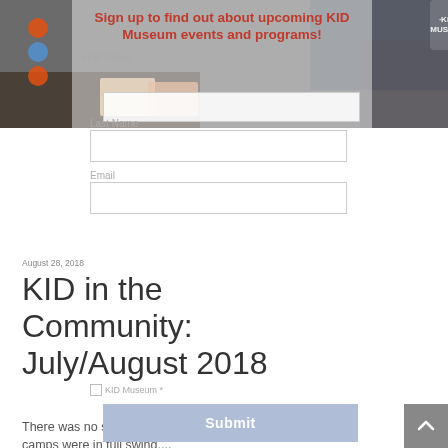[Figure (photo): Photo background showing people at a table, with KID Museum text and a semi-transparent overlay form for signing up for KID Museum events and programs]
Sign up to find out about upcoming KID Museum events and programs!
First Name
Last Name
August 28, 2018
KID in the Community: July/August 2018
There was no slowing down for KID this summer! As camps were in full swing,...
Email
KID Museum *
Submit